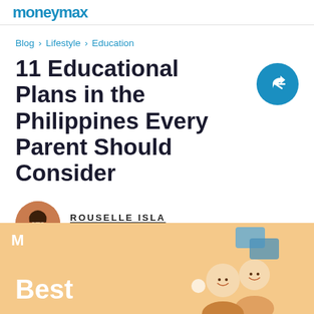moneymax logo
Blog > Lifestyle > Education
11 Educational Plans in the Philippines Every Parent Should Consider
ROUSELLE ISLA
Last updated June 09, 2022
[Figure (illustration): Bottom banner with orange/peach background showing 'M' logo, 'Best' text in white, and an illustration of smiling children with decorative blue rectangles]